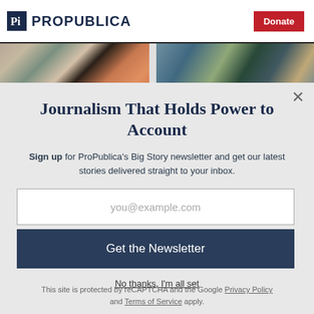ProPublica | Donate
[Figure (photo): Two article thumbnail images side by side: left shows a colorful collage/graphic, right shows a military-themed illustration]
Journalism That Holds Power to Account
Sign up for ProPublica's Big Story newsletter and get our latest stories delivered straight to your inbox.
you@example.com
Get the Newsletter
No thanks, I'm all set
This site is protected by reCAPTCHA and the Google Privacy Policy and Terms of Service apply.